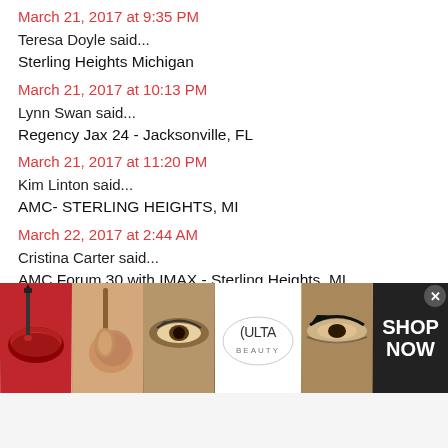March 21, 2017 at 9:35 PM
Teresa Doyle said...
Sterling Heights Michigan
March 21, 2017 at 10:13 PM
Lynn Swan said...
Regency Jax 24 - Jacksonville, FL
March 21, 2017 at 11:20 PM
Kim Linton said...
AMC- STERLING HEIGHTS, MI
March 22, 2017 at 2:44 AM
Cristina Carter said...
AMC Forum 30 with IMAX - Sterling Heights, MI
March 22, 2017 at 6:34 AM
Mozelle Juanita Thomas said...
AMC JACKSONVILLE FL
March 22, 2017 at 6:49 AM
Micah said...
[Figure (screenshot): Ulta Beauty advertisement banner with makeup product images (lips, brush, eyes), Ulta logo, and SHOP NOW call to action button]